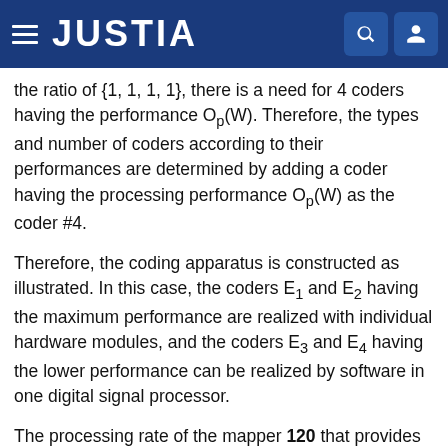JUSTIA
the ratio of {1, 1, 1, 1}, there is a need for 4 coders having the performance Op(W). Therefore, the types and number of coders according to their performances are determined by adding a coder having the processing performance Op(W) as the coder #4.
Therefore, the coding apparatus is constructed as illustrated. In this case, the coders E1 and E2 having the maximum performance are realized with individual hardware modules, and the coders E3 and E4 having the lower performance can be realized by software in one digital signal processor.
The processing rate of the mapper 120 that provides an input to the coding unit 130 and the processing rate of the demapper 140 that provides the output of the coding unit 130 can have the bandwidth shown in Equation (2) and can be appropriately directed to meet